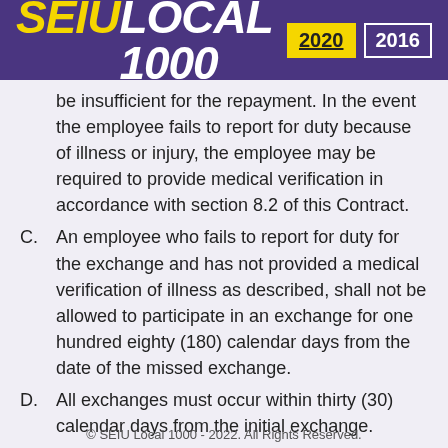SEIU LOCAL 1000  2020  2016
be insufficient for the repayment. In the event the employee fails to report for duty because of illness or injury, the employee may be required to provide medical verification in accordance with section 8.2 of this Contract.
C. An employee who fails to report for duty for the exchange and has not provided a medical verification of illness as described, shall not be allowed to participate in an exchange for one hundred eighty (180) calendar days from the date of the missed exchange.
D. All exchanges must occur within thirty (30) calendar days from the initial exchange.
E. Probationary employees are excluded from
© SEIU Local 1000 - 2022. All Rights Reserved.